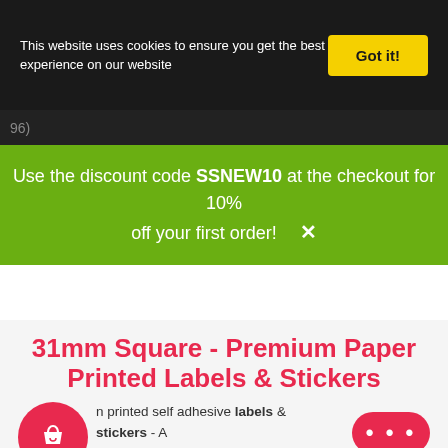This website uses cookies to ensure you get the best experience on our website
Got it!
96)
Use the discount code SSNEW10 at the checkout for 10% off your first order! ✕
31mm Square - Premium Paper Printed Labels & Stickers
n printed self adhesive labels & stickers - include high quality printing, VAT & Delivery